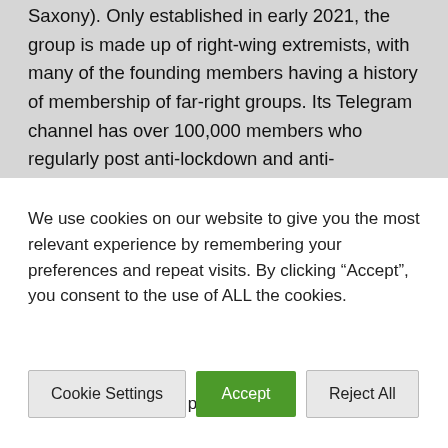Saxony). Only established in early 2021, the group is made up of right-wing extremists, with many of the founding members having a history of membership of far-right groups. Its Telegram channel has over 100,000 members who regularly post anti-lockdown and anti-vaccination material as well as posting content
We use cookies on our website to give you the most relevant experience by remembering your preferences and repeat visits. By clicking “Accept”, you consent to the use of ALL the cookies.
Hi John! Stop selling people's data!